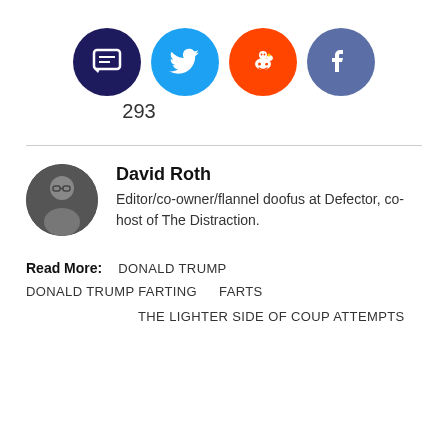[Figure (infographic): Social share buttons: comment (dark navy), Twitter (blue), Reddit (orange-red), Facebook (steel blue) circles in a row, with comment count 293 below the comment button]
293
David Roth
Editor/co-owner/flannel doofus at Defector, co-host of The Distraction.
Read More: DONALD TRUMP   DONALD TRUMP FARTING   FARTS   THE LIGHTER SIDE OF COUP ATTEMPTS